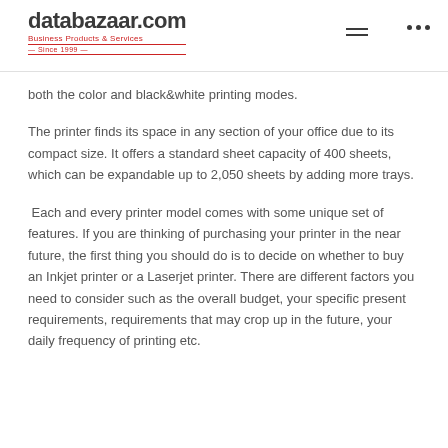databazaar.com — Business Products & Services — Since 1999
both the color and black&white printing modes.
The printer finds its space in any section of your office due to its compact size. It offers a standard sheet capacity of 400 sheets, which can be expandable up to 2,050 sheets by adding more trays.
Each and every printer model comes with some unique set of features. If you are thinking of purchasing your printer in the near future, the first thing you should do is to decide on whether to buy an Inkjet printer or a Laserjet printer. There are different factors you need to consider such as the overall budget, your specific present requirements, requirements that may crop up in the future, your daily frequency of printing etc.